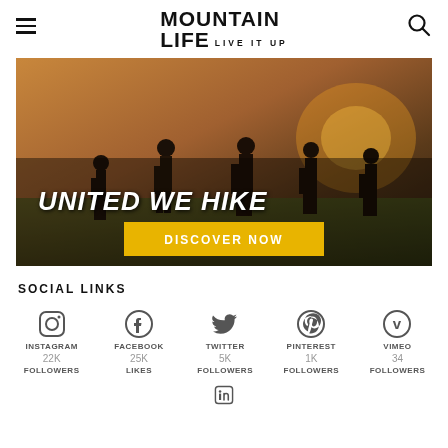MOUNTAIN LIFE LIVE IT UP
[Figure (photo): Hero image showing people hiking with text 'UNITED WE HIKE' and a 'DISCOVER NOW' button on a golden/warm outdoor background]
SOCIAL LINKS
[Figure (infographic): Social media links row showing Instagram (22K Followers), Facebook (25K Likes), Twitter (5K Followers), Pinterest (1K Followers), Vimeo (34 Followers), with a LinkedIn icon partially visible at bottom]